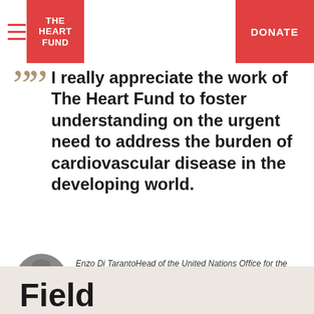THE HEART FUND | DONATE
I really appreciate the work of The Heart Fund to foster understanding on the urgent need to address the burden of cardiovascular disease in the developing world.
[Figure (photo): Circular black-and-white headshot of Enzo Di Taranto]
Enzo Di TarantoHead of the United Nations Office for the Coordination of Humanitarian Affairs - OCHA
Field